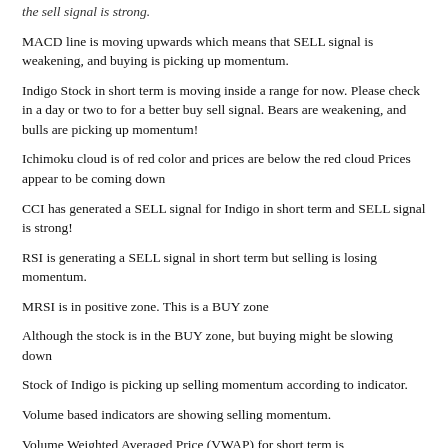the sell signal is strong.
MACD line is moving upwards which means that SELL signal is weakening, and buying is picking up momentum.
Indigo Stock in short term is moving inside a range for now. Please check in a day or two to for a better buy sell signal. Bears are weakening, and bulls are picking up momentum!
Ichimoku cloud is of red color and prices are below the red cloud Prices appear to be coming down
CCI has generated a SELL signal for Indigo in short term and SELL signal is strong!
RSI is generating a SELL signal in short term but selling is losing momentum.
MRSI is in positive zone. This is a BUY zone
Although the stock is in the BUY zone, but buying might be slowing down
Stock of Indigo is picking up selling momentum according to indicator.
Volume based indicators are showing selling momentum.
Volume Weighted Averaged Price (VWAP) for short term is